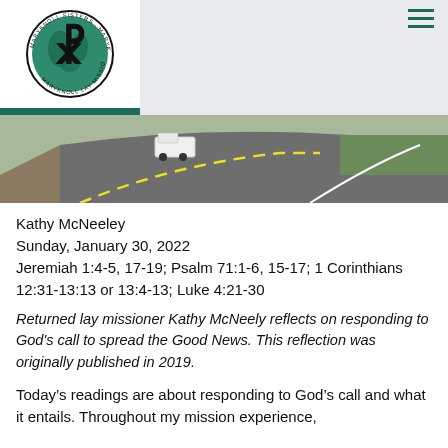Maryknoll Sisters, Maryknoll Fathers & Brothers, Maryknoll Lay Missioners logo and navigation
[Figure (photo): A curved road with a white truck driving along it, green roadside vegetation and embankments visible]
Kathy McNeeley
Sunday, January 30, 2022
Jeremiah 1:4-5, 17-19; Psalm 71:1-6, 15-17; 1 Corinthians 12:31-13:13 or 13:4-13; Luke 4:21-30
Returned lay missioner Kathy McNeely reflects on responding to God's call to spread the Good News. This reflection was originally published in 2019.
Today’s readings are about responding to God’s call and what it entails. Throughout my mission experience,